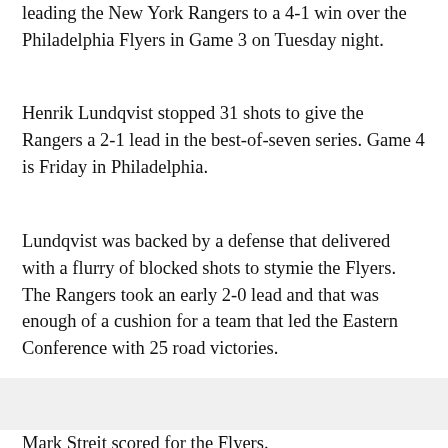leading the New York Rangers to a 4-1 win over the Philadelphia Flyers in Game 3 on Tuesday night.
Henrik Lundqvist stopped 31 shots to give the Rangers a 2-1 lead in the best-of-seven series. Game 4 is Friday in Philadelphia.
Lundqvist was backed by a defense that delivered with a flurry of blocked shots to stymie the Flyers. The Rangers took an early 2-0 lead and that was enough of a cushion for a team that led the Eastern Conference with 25 road victories.
Mark Streit scored for the Flyers.
Ray Emery struggled in net in his third straight start